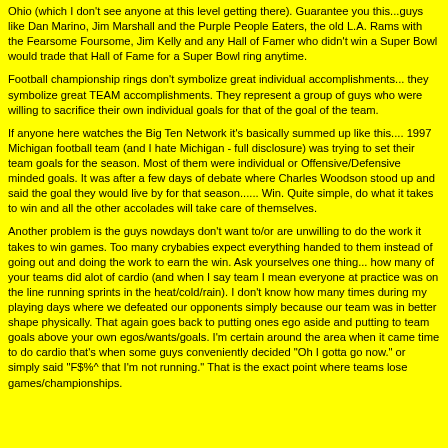Ohio (which I don't see anyone at this level getting there). Guarantee you this...guys like Dan Marino, Jim Marshall and the Purple People Eaters, the old L.A. Rams with the Fearsome Foursome, Jim Kelly and any Hall of Famer who didn't win a Super Bowl would trade that Hall of Fame for a Super Bowl ring anytime.
Football championship rings don't symbolize great individual accomplishments... they symbolize great TEAM accomplishments. They represent a group of guys who were willing to sacrifice their own individual goals for that of the goal of the team.
If anyone here watches the Big Ten Network it's basically summed up like this.... 1997 Michigan football team (and I hate Michigan - full disclosure) was trying to set their team goals for the season. Most of them were individual or Offensive/Defensive minded goals. It was after a few days of debate where Charles Woodson stood up and said the goal they would live by for that season...... Win. Quite simple, do what it takes to win and all the other accolades will take care of themselves.
Another problem is the guys nowdays don't want to/or are unwilling to do the work it takes to win games. Too many crybabies expect everything handed to them instead of going out and doing the work to earn the win. Ask yourselves one thing... how many of your teams did alot of cardio (and when I say team I mean everyone at practice was on the line running sprints in the heat/cold/rain). I don't know how many times during my playing days where we defeated our opponents simply because our team was in better shape physically. That again goes back to putting ones ego aside and putting to team goals above your own egos/wants/goals. I'm certain around the area when it came time to do cardio that's when some guys conveniently decided "Oh I gotta go now." or simply said "F$%^ that I'm not running." That is the exact point where teams lose games/championships.